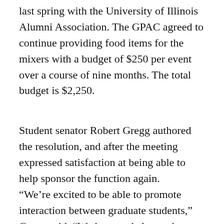last spring with the University of Illinois Alumni Association. The GPAC agreed to continue providing food items for the mixers with a budget of $250 per event over a course of nine months. The total budget is $2,250.
Student senator Robert Gregg authored the resolution, and after the meeting expressed satisfaction at being able to help sponsor the function again. “We’re excited to be able to promote interaction between graduate students,” Gregg said. “We just needed to make sure that the funding was there.”